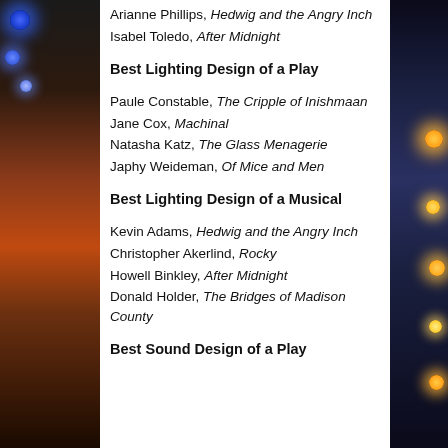Arianne Phillips, Hedwig and the Angry Inch
Isabel Toledo, After Midnight
Best Lighting Design of a Play
Paule Constable, The Cripple of Inishmaan
Jane Cox, Machinal
Natasha Katz, The Glass Menagerie
Japhy Weideman, Of Mice and Men
Best Lighting Design of a Musical
Kevin Adams, Hedwig and the Angry Inch
Christopher Akerlind, Rocky
Howell Binkley, After Midnight
Donald Holder, The Bridges of Madison County
Best Sound Design of a Play